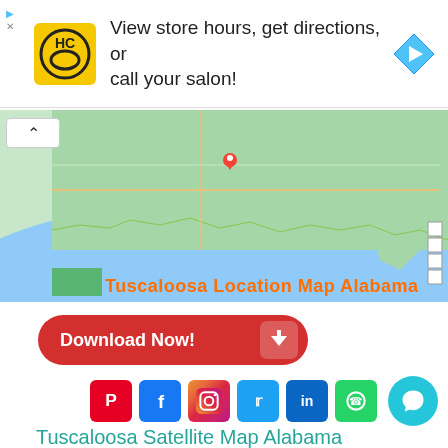[Figure (infographic): Ad banner: HC logo, text 'View store hours, get directions, or call your salon!', navigation arrow icon]
[Figure (map): Google map showing Tuscaloosa location in Alabama, southeastern US, with red pin marker and orange text 'Tuscaloosa Location Map Alabama']
[Figure (infographic): Red rounded rectangle Download Now! button with white text and down arrow icon]
[Figure (infographic): Social media icons row: Pinterest, Facebook, Instagram, Twitter, LinkedIn, WhatsApp; and teal chat bubble icon]
Tuscaloosa Satellite Map Alabama